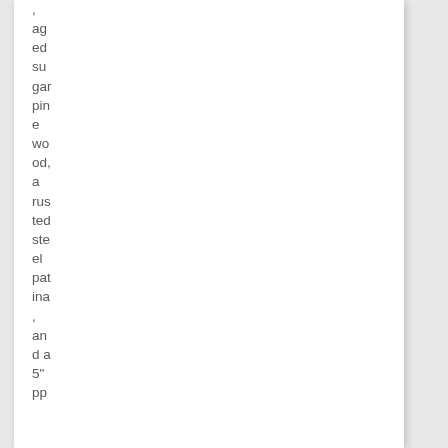,
ag
ed
su
gar
pin
e
wo
od,
a
rus
ted
ste
el
pat
ina
,
an
d a
5"
pp